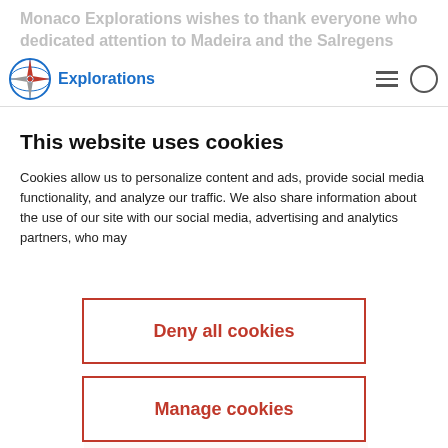Monaco Explorations wishes to thank everyone who dedicated attention to Madeira and the Salregens
[Figure (logo): Monaco Explorations compass logo with globe and navigation arrows, with text 'Explorations' in blue]
This website uses cookies
Cookies allow us to personalize content and ads, provide social media functionality, and analyze our traffic. We also share information about the use of our site with our social media, advertising and analytics partners, who may
Deny all cookies
Manage cookies
Ok accept all